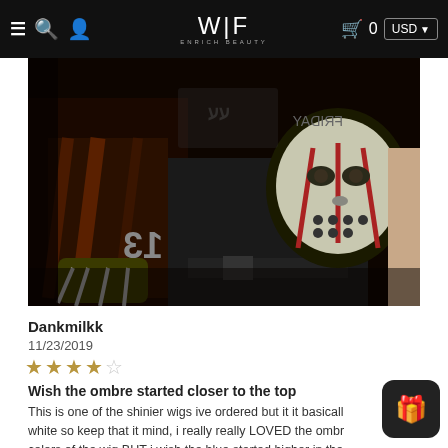WIF ENRICH BEAUTY — navigation bar with menu, search, user icons, cart 0, USD selector
[Figure (photo): A person wearing a Jason Voorhees hockey mask costume with a dark jacket bearing the number 13, appearing to be at a Halloween event. Dark, horror-themed photograph.]
Dankmilkk
11/23/2019
★★★★☆ (4 stars out of 5)
Wish the ombre started closer to the top
This is one of the shinier wigs ive ordered but it it basically white so keep that it mind, i really really LOVED the ombre colors of the wig BUT i wish the blue started higher in the… This wig is really really thick, and it seemed like the longer bits